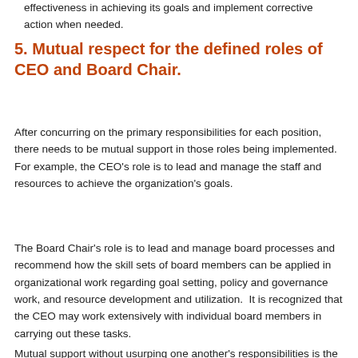effectiveness in achieving its goals and implement corrective action when needed.
5. Mutual respect for the defined roles of CEO and Board Chair.
After concurring on the primary responsibilities for each position, there needs to be mutual support in those roles being implemented. For example, the CEO's role is to lead and manage the staff and resources to achieve the organization's goals.
The Board Chair's role is to lead and manage board processes and recommend how the skill sets of board members can be applied in organizational work regarding goal setting, policy and governance work, and resource development and utilization.  It is recognized that the CEO may work extensively with individual board members in carrying out these tasks.
Mutual support without usurping one another's responsibilities is the